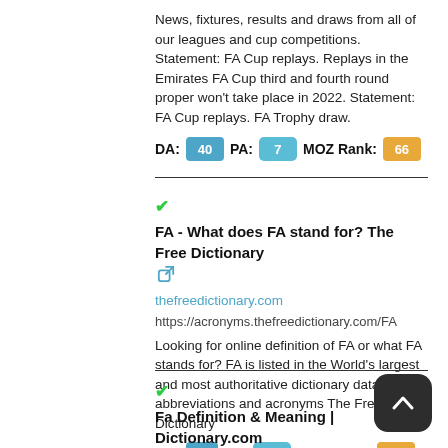News, fixtures, results and draws from all of our leagues and cup competitions. Statement: FA Cup replays. Replays in the Emirates FA Cup third and fourth round proper won't take place in 2022. Statement: FA Cup replays. FA Trophy draw.
DA: 40  PA: 7  MOZ Rank: 66
✔FA - What does FA stand for? The Free Dictionary
thefreedictionary.com
https://acronyms.thefreedictionary.com/FA
Looking for online definition of FA or what FA stands for? FA is listed in the World's largest and most authoritative dictionary database of abbreviations and acronyms The Free Dictionary
DA: 2  PA: 87  MOZ Rank: 39
✔Fa Definition & Meaning | Dictionary.com